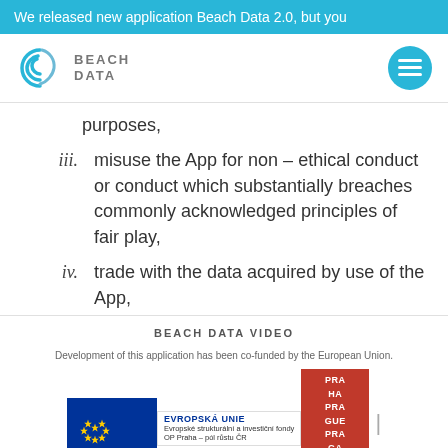We released new application Beach Data 2.0, but you
[Figure (logo): Beach Data logo with wave icon and text BEACH DATA, and a cyan hamburger menu button]
purposes,
iii. misuse the App for non – ethical conduct or conduct which substantially breaches commonly acknowledged principles of fair play,
iv. trade with the data acquired by use of the App,
BEACH DATA VIDEO
Development of this application has been co-funded by the European Union.
[Figure (logo): EU structural funds logo and Praha logo]
vi. undertakes or encourage hacker attacks against the App, or it...